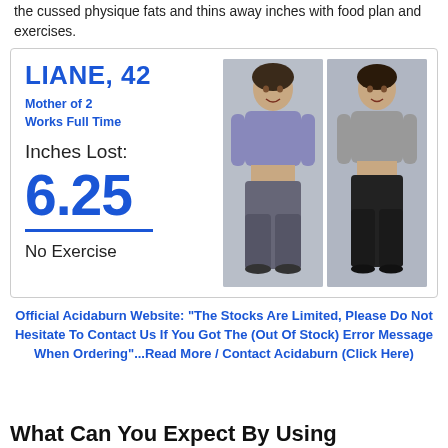the cussed physique fats and thins away inches with food plan and exercises.
[Figure (photo): Before and after photos of Liane, a 42-year-old mother of 2 who works full time, showing weight loss results with 6.25 inches lost and no exercise]
LIANE, 42
Mother of 2
Works Full Time
Inches Lost:
6.25
No Exercise
Official Acidaburn Website: “The Stocks Are Limited, Please Do Not Hesitate To Contact Us If You Got The (Out Of Stock) Error Message When Ordering”...Read More / Contact Acidaburn (Click Here)
What Can You Expect By Using